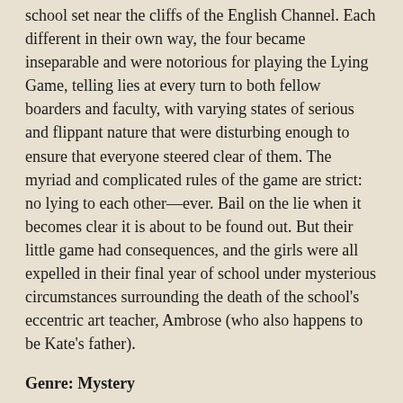school set near the cliffs of the English Channel. Each different in their own way, the four became inseparable and were notorious for playing the Lying Game, telling lies at every turn to both fellow boarders and faculty, with varying states of serious and flippant nature that were disturbing enough to ensure that everyone steered clear of them. The myriad and complicated rules of the game are strict: no lying to each other—ever. Bail on the lie when it becomes clear it is about to be found out. But their little game had consequences, and the girls were all expelled in their final year of school under mysterious circumstances surrounding the death of the school's eccentric art teacher, Ambrose (who also happens to be Kate's father).
Genre: Mystery
Why I Picked This Book:  Ware's previous two books were easily two of my favorite reads of the year so there was no way I could pass this one up!
My Impression:  This is such a hard review to write!  Ruth Ware's previous 2 books were on my favorites lists for the last 2 years.  I loved them.  I loved trying to figure out just what had